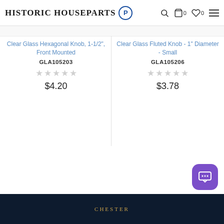Historic Houseparts
Clear Glass Hexagonal Knob, 1-1/2", Front Mounted
GLA105203
$4.20
Clear Glass Fluted Knob - 1" Diameter - Small
GLA105206
$3.78
CHESTER